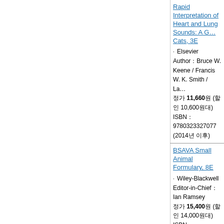Rapid Interpretation of Heart and Lung Sounds: A G... Cats, 3E
Elsevier
Author：Bruce W. Keene / Francis W. K. Smith / La...
정가 11,660원 (할인 10,600원대)
ISBN：9780323327077 (2014년 이후)
BSAVA Small Animal Formulary, 8E
Wiley-Blackwell
Editor-in-Chief：Ian Ramsey
정가 15,400원 (할인 14,000원대)
ISBN：9781905319657 (2014년 이후)
Essentials of Veterinary Ophthalmology, 3E ※이책은1...
Wiley-Blackwell
Author：Kirk N. Gelatt
정가 16,830원 (할인 15,300원대)
ISBN：9781118771921 (2014년 이후)
Zoo Animal and Wildlife Immobilization and Anesthe...
Wiley-Blackwell
Editor：Gary West / Darryl Heard / Nigel Caulkett
정가 27,500원 (할인 25,000원대)
ISBN：9780813811833 (2014년 이후)
Pain Management in Veterinary Practice
Wiley-Blackwell